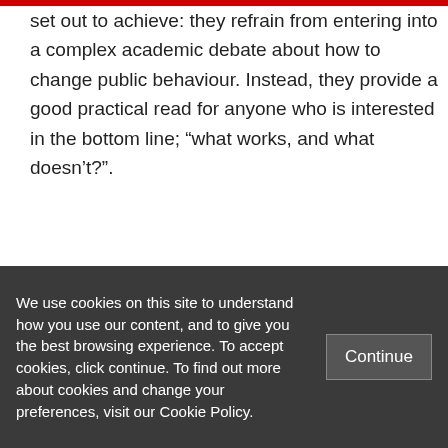specifically, the authors deliver on what they set out to achieve: they refrain from entering into a complex academic debate about how to change public behaviour. Instead, they provide a good practical read for anyone who is interested in the bottom line; “what works, and what doesn’t?”.
Sander van der Linden is a doctoral
We use cookies on this site to understand how you use our content, and to give you the best browsing experience. To accept cookies, click continue. To find out more about cookies and change your preferences, visit our Cookie Policy.